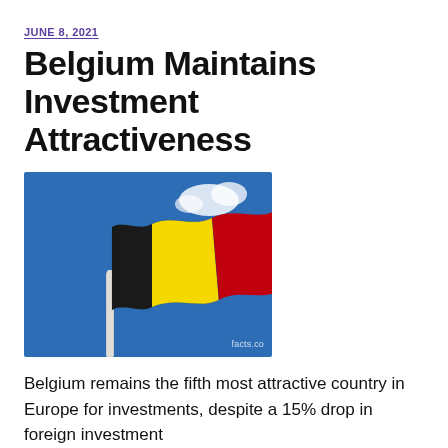JUNE 8, 2021
Belgium Maintains Investment Attractiveness
[Figure (photo): Photograph of the Belgian flag (black, yellow, red vertical stripes) waving against a blue sky with a small white cloud. A white flagpole is visible at the bottom. Watermark reads 'facts.co'.]
Belgium remains the fifth most attractive country in Europe for investments, despite a 15% drop in foreign investment